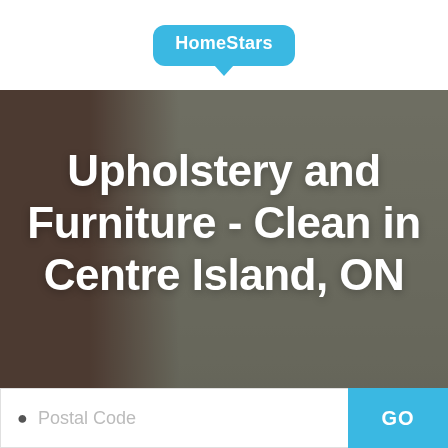HomeStars
Upholstery and Furniture - Clean in Centre Island, ON
Postal Code
GO